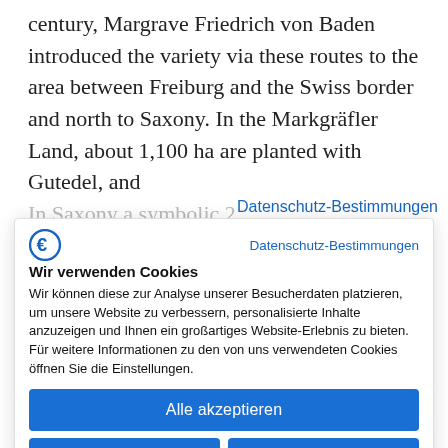century, Margrave Friedrich von Baden introduced the variety via these routes to the area between Freiburg and the Swiss border and north to Saxony. In the Markgräfler Land, about 1,100 ha are planted with Gutedel, and
In Saxony a symbolic 2
Datenschutz-Bestimmungen
preserved through history.
Cluster: The grapes are large, elongated, also
Wir verwenden Cookies
Wir können diese zur Analyse unserer Besucherdaten platzieren, um unsere Website zu verbessern, personalisierte Inhalte anzuzeigen und Ihnen ein großartiges Website-Erlebnis zu bieten. Für weitere Informationen zu den von uns verwendeten Cookies öffnen Sie die Einstellungen.
Alle akzeptieren
Ablehnen
Einstellungen anpassen
crunchy sweet
Wine: Chasselas is one of the more neutral varieties that, depending on the terroir and
cellar master, can represent the soil